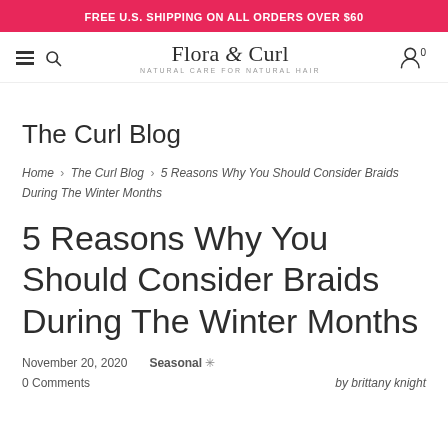FREE U.S. SHIPPING ON ALL ORDERS OVER $60
[Figure (logo): Flora & Curl logo with tagline NATURAL CARE FOR NATURAL HAIR, hamburger menu, search, and account icons in navigation bar]
The Curl Blog
Home › The Curl Blog › 5 Reasons Why You Should Consider Braids During The Winter Months
5 Reasons Why You Should Consider Braids During The Winter Months
November 20, 2020   Seasonal ✳
0 Comments   by brittany knight